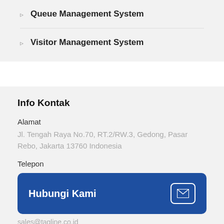Queue Management System
Visitor Management System
Info Kontak
Alamat
Jl. Tengah Raya No.70, RT.2/RW.3, Gedong, Pasar Rebo, Jakarta 13760 Indonesia
Telepon
Hubungi Kami
sales@tagline.co.id